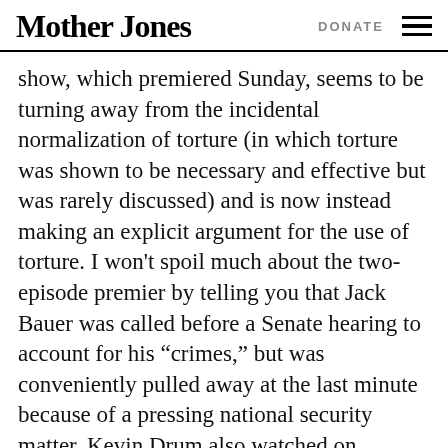Mother Jones | DONATE
show, which premiered Sunday, seems to be turning away from the incidental normalization of torture (in which torture was shown to be necessary and effective but was rarely discussed) and is now instead making an explicit argument for the use of torture. I won't spoil much about the two-episode premier by telling you that Jack Bauer was called before a Senate hearing to account for his “crimes,” but was conveniently pulled away at the last minute because of a pressing national security matter. Kevin Drum also watched on Sunday. He writes:
[I]t’s obvious that the show is going to deal head on with the subject of torture this